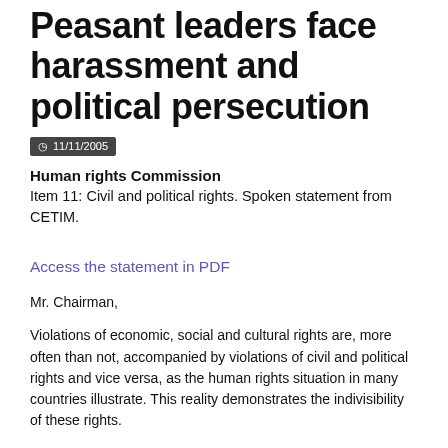Peasant leaders face harassment and political persecution
11/11/2005
Human rights Commission
Item 11: Civil and political rights. Spoken statement from CETIM.
Access the statement in PDF
Mr. Chairman,
Violations of economic, social and cultural rights are, more often than not, accompanied by violations of civil and political rights and vice versa, as the human rights situation in many countries illustrate. This reality demonstrates the indivisibility of these rights.
The situation of millions peasant families, victims of forced